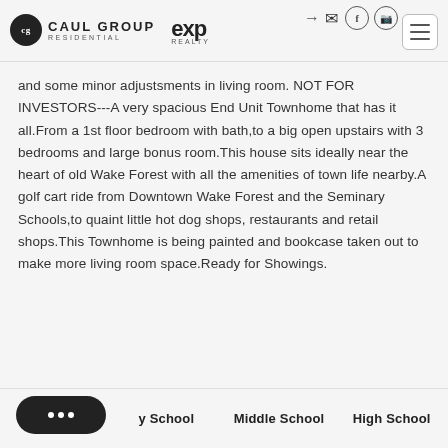CAUL GROUP RESIDENTIAL | exp REALTY
and some minor adjustsments in living room. NOT FOR INVESTORS---A very spacious End Unit Townhome that has it all.From a 1st floor bedroom with bath,to a big open upstairs with 3 bedrooms and large bonus room.This house sits ideally near the heart of old Wake Forest with all the amenities of town life nearby.A golf cart ride from Downtown Wake Forest and the Seminary Schools,to quaint little hot dog shops, restaurants and retail shops.This Townhome is being painted and bookcase taken out to make more living room space.Ready for Showings.
y School   Middle School   High School